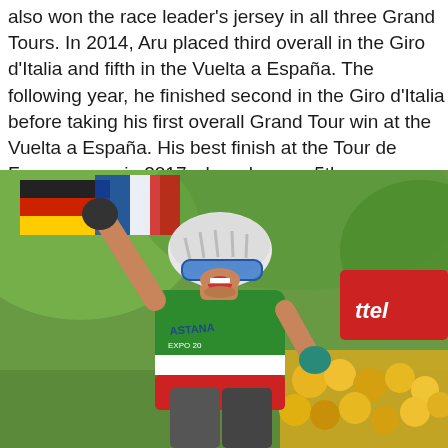also won the race leader's jersey in all three Grand Tours. In 2014, Aru placed third overall in the Giro d'Italia and fifth in the Vuelta a España. The following year, he finished second in the Giro d'Italia before taking his first overall Grand Tour win at the Vuelta a España. His best finish at the Tour de France came in 2017 where he was 5th.
[Figure (photo): Cyclist in green and white Astana team jersey with Italian national champion stripes celebrating a race victory, fist raised, wearing a white helmet and blue glasses, with a crowd and sponsor banners in the background.]